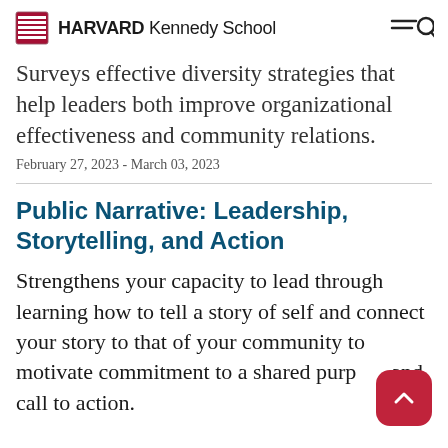HARVARD Kennedy School
Surveys effective diversity strategies that help leaders both improve organizational effectiveness and community relations.
February 27, 2023 - March 03, 2023
Public Narrative: Leadership, Storytelling, and Action
Strengthens your capacity to lead through learning how to tell a story of self and connect your story to that of your community to motivate commitment to a shared purpose and call to action.